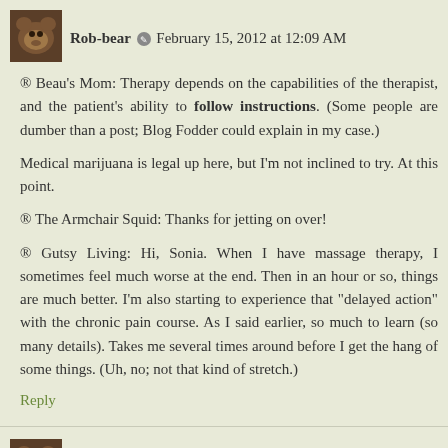[Figure (photo): Avatar photo of Rob-bear (brown bear)]
Rob-bear  February 15, 2012 at 12:09 AM
® Beau's Mom: Therapy depends on the capabilities of the therapist, and the patient's ability to follow instructions. (Some people are dumber than a post; Blog Fodder could explain in my case.)
Medical marijuana is legal up here, but I'm not inclined to try. At this point.
® The Armchair Squid: Thanks for jetting on over!
® Gutsy Living: Hi, Sonia. When I have massage therapy, I sometimes feel much worse at the end. Then in an hour or so, things are much better. I'm also starting to experience that "delayed action" with the chronic pain course. As I said earlier, so much to learn (so many details). Takes me several times around before I get the hang of some things. (Uh, no; not that kind of stretch.)
Reply
[Figure (photo): Avatar photo of Rob-bear (brown bear)]
Rob-bear  February 15, 2012 at 12:13 AM